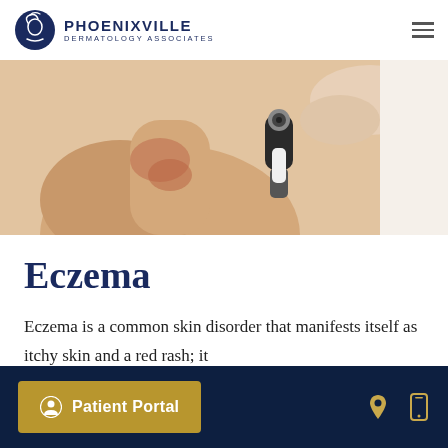Phoenixville Dermatology Associates
[Figure (photo): Close-up photo of a dermatologist applying a handheld dermatoscope device to the shoulder/neck area of a patient showing reddened skin]
Eczema
Eczema is a common skin disorder that manifests itself as itchy skin and a red rash; it
Patient Portal